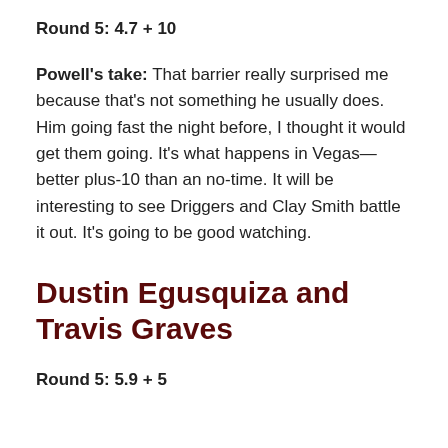Round 5: 4.7 + 10
Powell's take: That barrier really surprised me because that's not something he usually does. Him going fast the night before, I thought it would get them going. It's what happens in Vegas—better plus-10 than an no-time. It will be interesting to see Driggers and Clay Smith battle it out. It's going to be good watching.
Dustin Egusquiza and Travis Graves
Round 5: 5.9 + 5